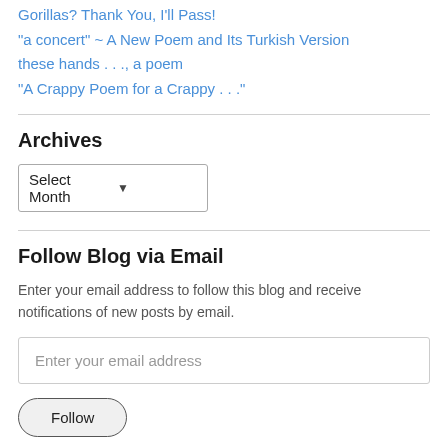Gorillas? Thank You, I'll Pass!
“a concert” ~ A New Poem and Its Turkish Version
these hands . . ., a poem
“A Crappy Poem for a Crappy . . .”
Archives
Select Month
Follow Blog via Email
Enter your email address to follow this blog and receive notifications of new posts by email.
Enter your email address
Follow